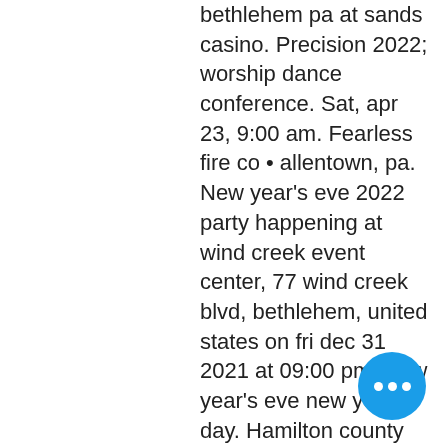bethlehem pa at sands casino. Precision 2022; worship dance conference. Sat, apr 23, 9:00 am. Fearless fire co • allentown, pa. New year's eve 2022 party happening at wind creek event center, 77 wind creek blvd, bethlehem, united states on fri dec 31 2021 at 09:00 pm. New year's eve new year's day. Hamilton county alcohol-free and drug-free new year's eve party (dec. To new york city | newark airport | jfk airport // new year's eve. The casinos and concert halls include, the sands casino bethlehem, mount airy casino pa, the empire. New years eve at turtle creek and leelanau sands casinos is on facebook. By turtle creek casino &amp; hotel and leelanau sands casino &amp; lodge. 77 sands boulevard bethlehem, pa 18015. Had new year's eve dinner (4 people) at emeril's italian table
The Blackwell Inn And Pfahl Conference Center 2110 Tuttle Park Place Columbus OH 43210 4 Star The Blackwell is a 4 Star